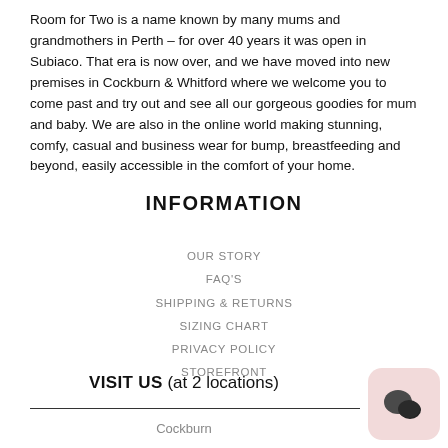Room for Two is a name known by many mums and grandmothers in Perth – for over 40 years it was open in Subiaco. That era is now over, and we have moved into new premises in Cockburn & Whitford where we welcome you to come past and try out and see all our gorgeous goodies for mum and baby. We are also in the online world making stunning, comfy, casual and business wear for bump, breastfeeding and beyond, easily accessible in the comfort of your home.
INFORMATION
OUR STORY
FAQ'S
SHIPPING & RETURNS
SIZING CHART
PRIVACY POLICY
STOREFRONT
VISIT US (at 2 locations)
Cockburn